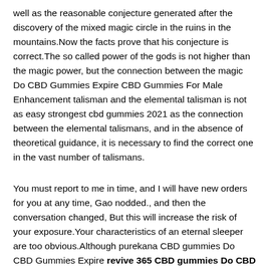well as the reasonable conjecture generated after the discovery of the mixed magic circle in the ruins in the mountains.Now the facts prove that his conjecture is correct.The so called power of the gods is not higher than the magic power, but the connection between the magic Do CBD Gummies Expire CBD Gummies For Male Enhancement talisman and the elemental talisman is not as easy strongest cbd gummies 2021 as the connection between the elemental talismans, and in the absence of theoretical guidance, it is necessary to find the correct one in the vast number of talismans.
You must report to me in time, and I will have new orders for you at any time, Gao nodded., and then the conversation changed, But this will increase the risk of your exposure.Your characteristics of an eternal sleeper are too obvious.Although purekana CBD gummies Do CBD Gummies Expire revive 365 CBD gummies Do CBD Gummies Expire few people know the existence of the spiritual network, your frequent access to the network itself is an abnormal phenomenon.My lord, what do you mean It s time for you to increase your manpower, Gao said unhurriedly, cbd gummies